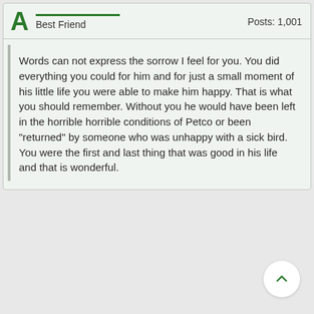A  Best Friend  Posts: 1,001
Words can not express the sorrow I feel for you. You did everything you could for him and for just a small moment of his little life you were able to make him happy. That is what you should remember. Without you he would have been left in the horrible horrible conditions of Petco or been "returned" by someone who was unhappy with a sick bird. You were the first and last thing that was good in his life and that is wonderful.